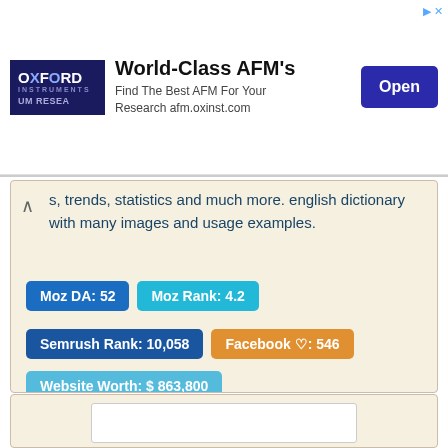[Figure (screenshot): Advertisement banner for Oxford Instruments showing World-Class AFM's text, Find The Best AFM For Your Research afm.oxinst.com, and an Open button]
s, trends, statistics and much more. english dictionary with many images and usage examples.
Moz DA: 52   Moz Rank: 4.2   Semrush Rank: 10,058   Facebook ♡: 546   Website Worth: $ 863,800
Categories: Arts/Literature, News/Media Reference/Flags, Education/Reference,
Scroll Top
Is it similar?  Yes 0  No 0